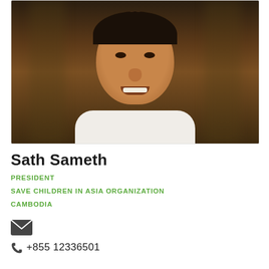[Figure (photo): Portrait photo of Sath Sameth, a man wearing a white shirt, with a dark blurred background.]
Sath Sameth
PRESIDENT
SAVE CHILDREN IN ASIA ORGANIZATION
CAMBODIA
[Figure (other): Email envelope icon]
+855 12336501